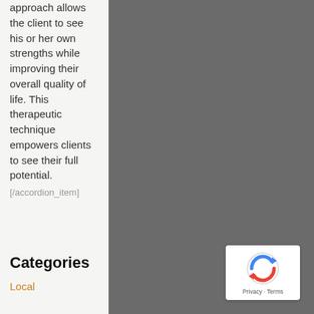approach allows the client to see his or her own strengths while improving their overall quality of life. This therapeutic technique empowers clients to see their full potential.
[/accordion_item]
Categories
Local